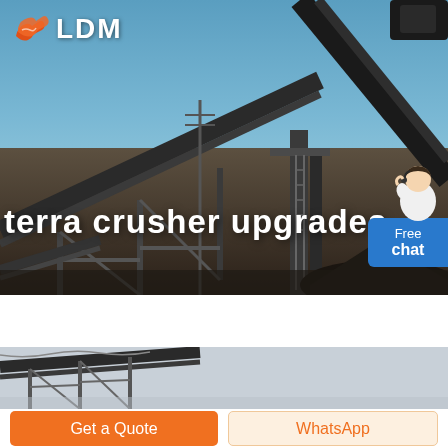[Figure (photo): Hero banner showing industrial crusher/conveyor machinery at a mining site against a blue sky, with LDM logo overlay and 'terra crusher upgrades' text, plus a Free chat widget]
[Figure (photo): Secondary strip image showing partial view of conveyor belt machinery]
Get a Quote
WhatsApp